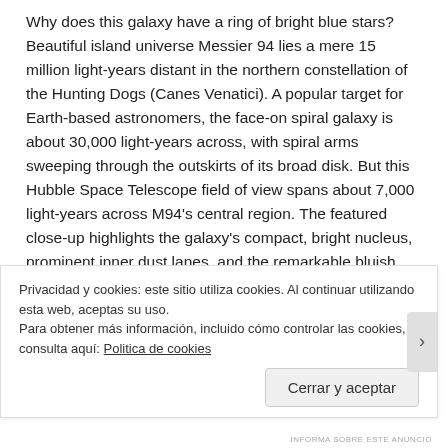Why does this galaxy have a ring of bright blue stars? Beautiful island universe Messier 94 lies a mere 15 million light-years distant in the northern constellation of the Hunting Dogs (Canes Venatici). A popular target for Earth-based astronomers, the face-on spiral galaxy is about 30,000 light-years across, with spiral arms sweeping through the outskirts of its broad disk. But this Hubble Space Telescope field of view spans about 7,000 light-years across M94's central region. The featured close-up highlights the galaxy's compact, bright nucleus, prominent inner dust lanes, and the remarkable bluish ring of young massive stars. The ring stars are all likely less than 10 million years old, indicating that M94 is a starburst...
Privacidad y cookies: este sitio utiliza cookies. Al continuar utilizando esta web, aceptas su uso.
Para obtener más información, incluido cómo controlar las cookies, consulta aquí: Politica de cookies
Cerrar y aceptar
INFORMA SOBRE ESTE ANUNCIO